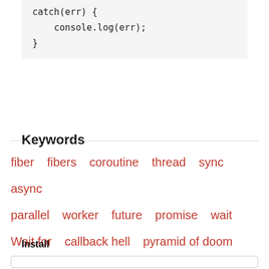catch(err) {
    console.log(err);
}
Keywords
fiber  fibers  coroutine  thread  sync  async  parallel  worker  future  promise  wait  Wait.for  callback hell  pyramid of doom
Install